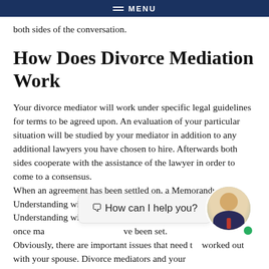MENU
both sides of the conversation.
How Does Divorce Mediation Work
Your divorce mediator will work under specific legal guidelines for terms to be agreed upon. An evaluation of your particular situation will be studied by your mediator in addition to any additional lawyers you have chosen to hire. Afterwards both sides cooperate with the assistance of the lawyer in order to come to a consensus. When an agreement has been settled on, a Memorandum of Understanding will be written. The Memorandum of Understanding will be made official during court proceedings once ma... ve been set. Obviously, there are important issues that need t... worked out with your spouse. Divorce mediators and your
[Figure (photo): Chat bubble overlay with text '🗨 How can I help you?' and circular avatar of a man in a suit with a red tie, with a green online indicator dot]